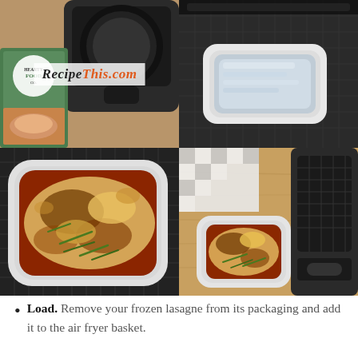[Figure (photo): 2x2 grid of four food photos showing frozen lasagne being cooked in an air fryer. Top-left: Hearty Food Co. lasagne box next to an air fryer with RecipeThis.com watermark. Top-right: Frozen lasagne in clear tray inside air fryer basket. Bottom-left: Close-up of cooked golden-brown lasagne in white tray. Bottom-right: Cooked lasagne in tray on wooden surface next to air fryer.]
Load. Remove your frozen lasagne from its packaging and add it to the air fryer basket. Make sure you do not flip the lasagne over.